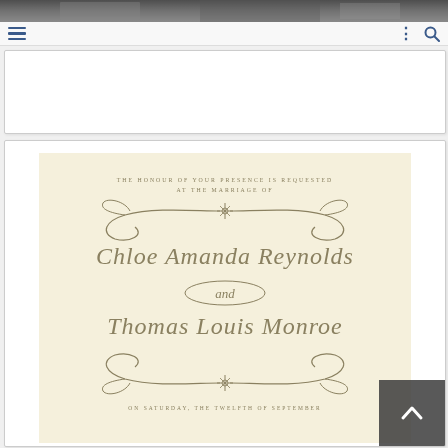[Figure (photo): Top decorative photo strip - dark grayscale landscape/scene image used as page header background]
Navigation bar with hamburger menu icon on left and dots + search icon on right
[Figure (other): White rectangular advertisement/content placeholder box]
[Figure (other): Wedding invitation card on cream/ivory background with ornate calligraphic script text reading: THE HONOUR OF YOUR PRESENCE IS REQUESTED / AT THE MARRIAGE OF / [decorative scrollwork ornament] / Chloe Amanda Reynolds / and / Thomas Louis Monroe / [decorative scrollwork ornament] / ON SATURDAY, THE TWELFTH OF SEPTEMBER]